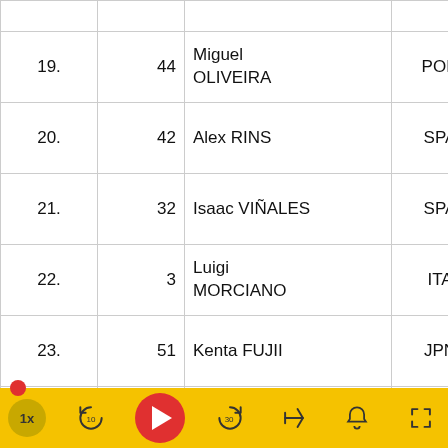| Pos | No | Name | Nat | Team |
| --- | --- | --- | --- | --- |
|  |  |  |  | Racing |
| 19. | 44 | Miguel OLIVEIRA | POR | Estrella Galicia 0 |
| 20. | 42 | Alex RINS | SPA | Estrella Galicia 0 |
| 21. | 32 | Isaac VIÑALES | SPA | Ongetta- Centro S |
| 22. | 3 | Luigi MORCIANO | ITA | Ioda Tea Italia |
| 23. | 51 | Kenta FUJII | JPN | Technom CIP-TSR |
| 24. | 5 | Romano FENATI | ITA | Team Ita FMI |
|  |  |  |  | Andaluci |